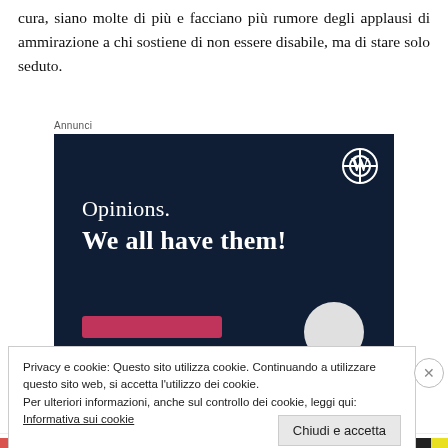cura, siano molte di più e facciano più rumore degli applausi di ammirazione a chi sostiene di non essere disabile, ma di stare solo seduto.
[Figure (screenshot): WordPress advertisement banner with dark navy background showing 'Opinions. We all have them!' text with WordPress logo in the top right corner, a pink button at the bottom left, and a grey circle at the bottom right. The ad is labeled 'Annunci' above it.]
Privacy e cookie: Questo sito utilizza cookie. Continuando a utilizzare questo sito web, si accetta l'utilizzo dei cookie.
Per ulteriori informazioni, anche sul controllo dei cookie, leggi qui:
Informativa sui cookie
Chiudi e accetta